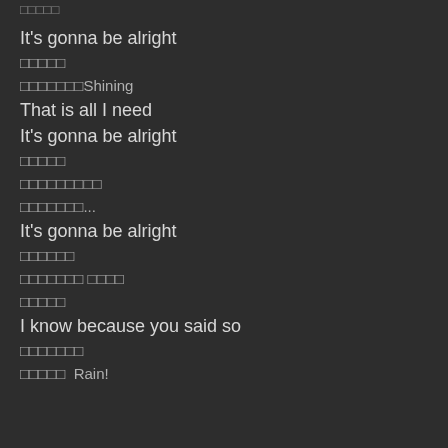□□□□□
It's gonna be alright
□□□□□
□□□□□□□Shining
That is all I need
It's gonna be alright
□□□□□
□□□□□□□□□
□□□□□□□...
It's gonna be alright
□□□□□□
□□□□□□□ □□□□
□□□□□
I know because you said so
□□□□□□□
□□□□□  Rain!